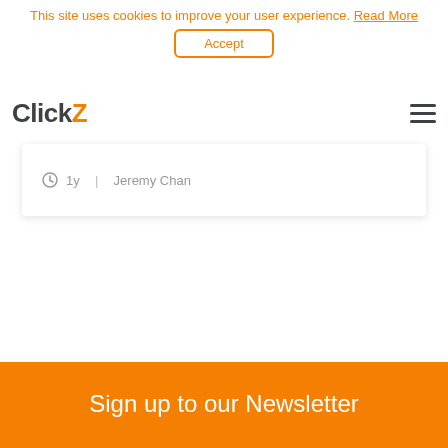This site uses cookies to improve your user experience. Read More
Accept
[Figure (logo): ClickZ logo with Click in dark gray and Z in orange]
1y  |  Jeremy Chan
Sign up to our Newsletter